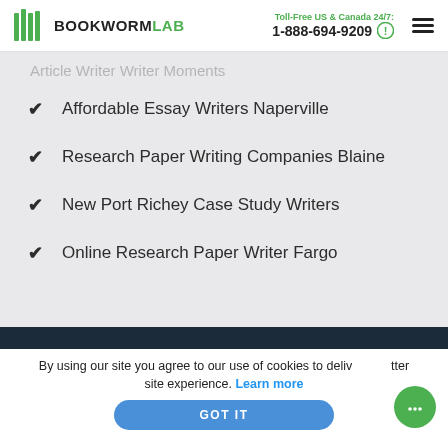BOOKWORMLAB — Toll-Free US & Canada 24/7: 1-888-694-9209
Article Writer Writer Moments
Affordable Essay Writers Naperville
Research Paper Writing Companies Blaine
New Port Richey Case Study Writers
Online Research Paper Writer Fargo
By using our site you agree to our use of cookies to deliver a better site experience. Learn more  GOT IT